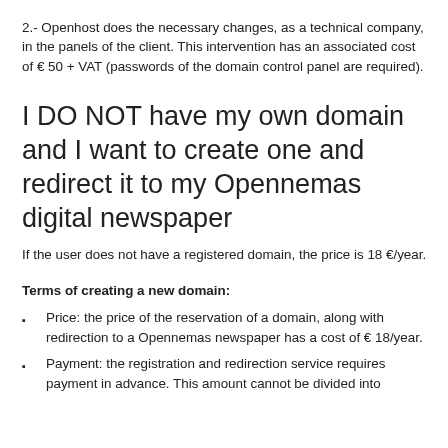2.- Openhost does the necessary changes, as a technical company, in the panels of the client. This intervention has an associated cost of € 50 + VAT (passwords of the domain control panel are required).
I DO NOT have my own domain and I want to create one and redirect it to my Opennemas digital newspaper
If the user does not have a registered domain, the price is 18 €/year.
Terms of creating a new domain:
Price: the price of the reservation of a domain, along with redirection to a Opennemas newspaper has a cost of € 18/year.
Payment: the registration and redirection service requires payment in advance. This amount cannot be divided into